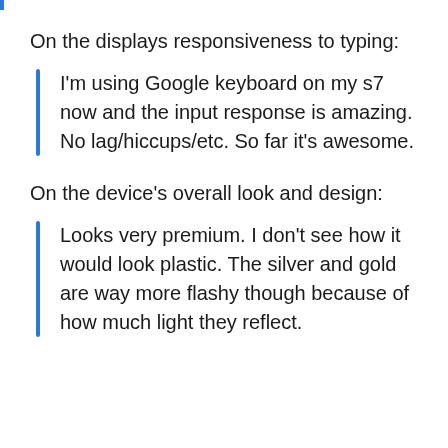On the displays responsiveness to typing:
I'm using Google keyboard on my s7 now and the input response is amazing. No lag/hiccups/etc. So far it's awesome.
On the device's overall look and design:
Looks very premium. I don't see how it would look plastic. The silver and gold are way more flashy though because of how much light they reflect.